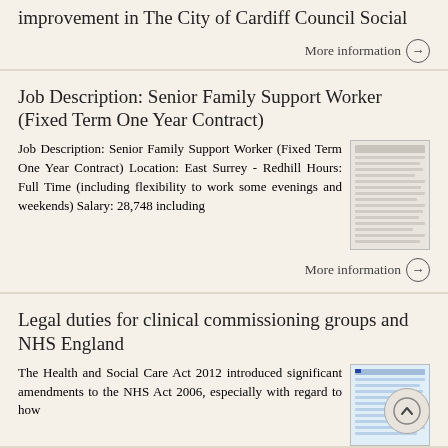improvement in The City of Cardiff Council Social
More information →
Job Description: Senior Family Support Worker (Fixed Term One Year Contract)
Job Description: Senior Family Support Worker (Fixed Term One Year Contract) Location: East Surrey - Redhill Hours: Full Time (including flexibility to work some evenings and weekends) Salary: 28,748 including
[Figure (screenshot): Thumbnail image of a document page showing job description text]
More information →
Legal duties for clinical commissioning groups and NHS England
The Health and Social Care Act 2012 introduced significant amendments to the NHS Act 2006, especially with regard to how
[Figure (screenshot): Thumbnail image of a document page about legal duties]